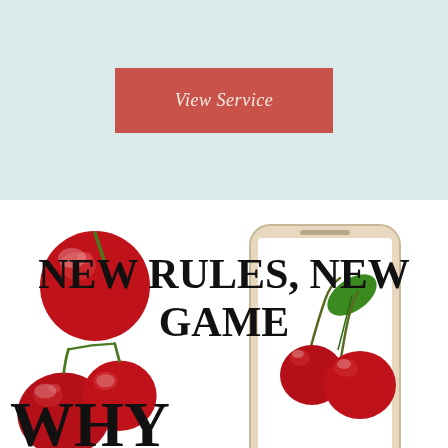[Figure (other): Light blue/teal background section with a reddish-coral colored button labeled 'View Service' in italic serif font, centered in the upper portion of the page.]
[Figure (photo): White background section showing: two large red cherries (top left), two red cherries/plums (bottom left), a gold/white smartphone displaying cherries with a green leaf on its screen, and the beginning of large bold text 'WHY' at the very bottom. Overlaid on the image is large bold serif text reading 'NEW RULES, NEW GAME'.]
NEW RULES, NEW GAME
WHY